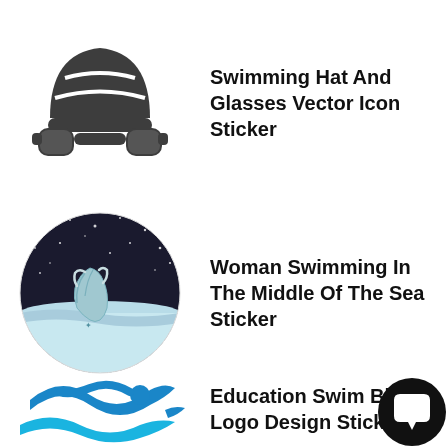[Figure (illustration): Swimming hat and goggles icon - dark gray swim cap with goggles below, silhouette style]
Swimming Hat And Glasses Vector Icon Sticker
[Figure (illustration): Circular illustration of a woman swimming in the sea at night - dark sky with stars, light blue water, woman with long hair]
Woman Swimming In The Middle Of The Sea Sticker
[Figure (logo): Blue swimming logo with stylized swimmer and wave shapes]
Education Swim Blue C Logo Design Sticker
[Figure (illustration): Black circular chat bubble icon with white speech bubble inside]